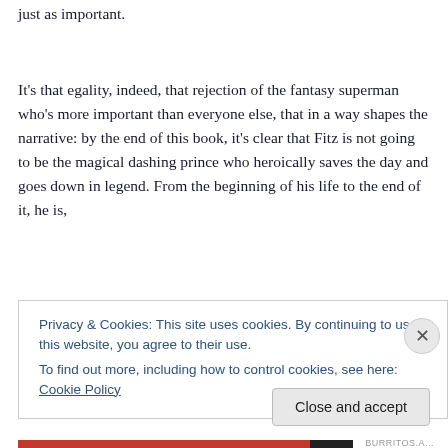just as important.
It's that egality, indeed, that rejection of the fantasy superman who's more important than everyone else, that in a way shapes the narrative: by the end of this book, it's clear that Fitz is not going to be the magical dashing prince who heroically saves the day and goes down in legend. From the beginning of his life to the end of it, he is,
Privacy & Cookies: This site uses cookies. By continuing to use this website, you agree to their use.
To find out more, including how to control cookies, see here: Cookie Policy
Close and accept